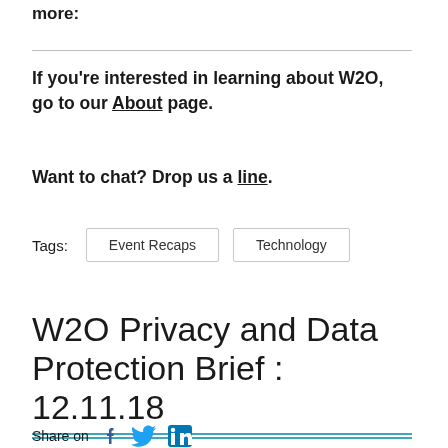more:
If you're interested in learning about W2O, go to our About page.
Want to chat? Drop us a line.
Tags:  Event Recaps  Technology
W2O Privacy and Data Protection Brief : 12.11.18
Share on